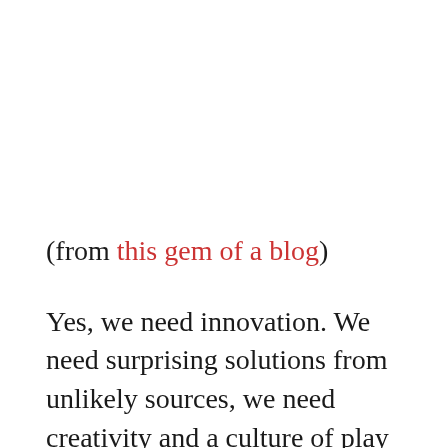(from this gem of a blog)
Yes, we need innovation. We need surprising solutions from unlikely sources, we need creativity and a culture of play in order to venture out into new areas.
But we also need inspection. We need to hone